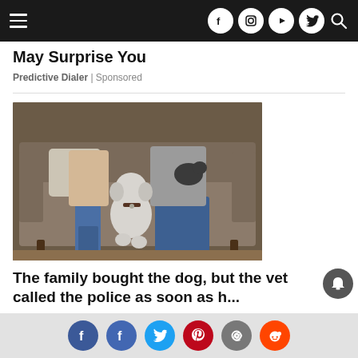Navigation bar with hamburger menu and social icons (Facebook, Instagram, YouTube, Twitter, Search)
May Surprise You
Predictive Dialer | Sponsored
[Figure (photo): Two people sitting on a sofa with a white curly-haired dog standing in front of them and a small dark dog being held by one person]
The family bought the dog, but the vet called the police as soon as h...
wolrdame.com | Sponsored
Social share buttons: Facebook, Facebook, Twitter, Pinterest, Email, Reddit